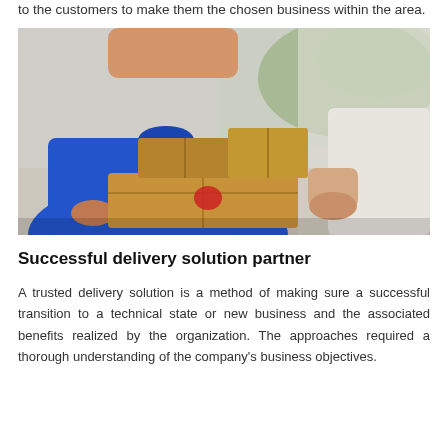to the customers to make them the chosen business within the area.
[Figure (photo): A delivery person in a blue shirt and lanyard handing a cardboard package to a customer whose arm is visible on the right side.]
Successful delivery solution partner
A trusted delivery solution is a method of making sure a successful transition to a technical state or new business and the associated benefits realized by the organization. The approaches required a thorough understanding of the company's business objectives.